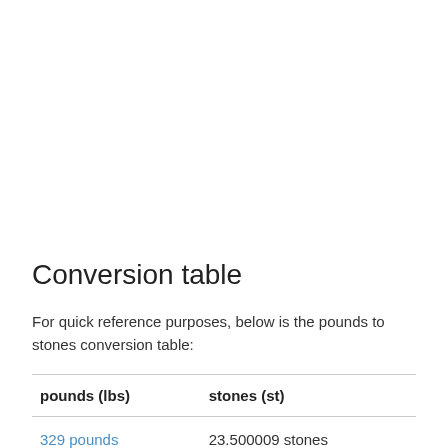Conversion table
For quick reference purposes, below is the pounds to stones conversion table:
| pounds (lbs) | stones (st) |
| --- | --- |
| 329 pounds | 23.500009 stones |
| 330 pounds | 23.571438 stones |